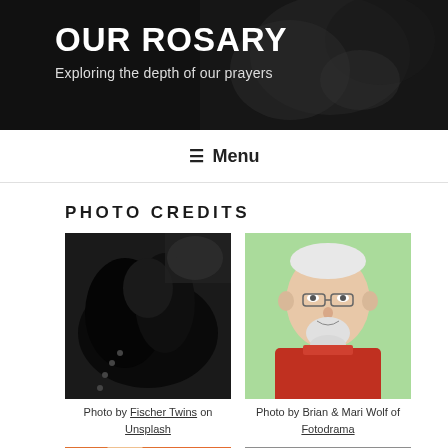OUR ROSARY
Exploring the depth of our prayers
☰ Menu
PHOTO CREDITS
[Figure (photo): Black and white photo of hands holding a rosary]
Photo by Fischer Twins on Unsplash
[Figure (photo): Portrait of older man with white hair and beard wearing red shirt, green background]
Photo by Brian & Mari Wolf of Fotodrama
[Figure (photo): Child with orange background, partial view]
[Figure (photo): Black and white photo, partial view at bottom of page]